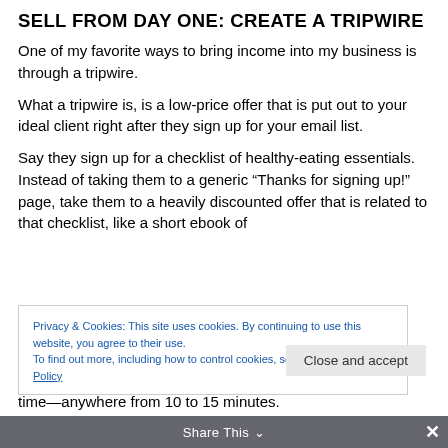SELL FROM DAY ONE: CREATE A TRIPWIRE
One of my favorite ways to bring income into my business is through a tripwire.
What a tripwire is, is a low-price offer that is put out to your ideal client right after they sign up for your email list.
Say they sign up for a checklist of healthy-eating essentials. Instead of taking them to a generic “Thanks for signing up!” page, take them to a heavily discounted offer that is related to that checklist, like a short ebook of
Privacy & Cookies: This site uses cookies. By continuing to use this website, you agree to their use.
To find out more, including how to control cookies, see here: Cookie Policy
Close and accept
time—anywhere from 10 to 15 minutes.
Share This